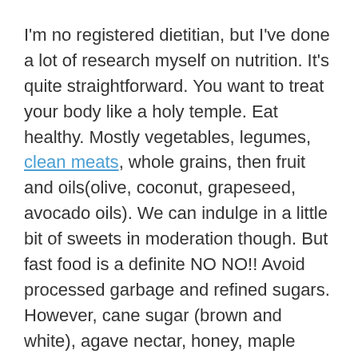I'm no registered dietitian, but I've done a lot of research myself on nutrition. It's quite straightforward. You want to treat your body like a holy temple. Eat healthy. Mostly vegetables, legumes, clean meats, whole grains, then fruit and oils(olive, coconut, grapeseed, avocado oils). We can indulge in a little bit of sweets in moderation though. But fast food is a definite NO NO!! Avoid processed garbage and refined sugars. However, cane sugar (brown and white), agave nectar, honey, maple syrup, and coconut sugar are some great alternatives for sweetness.
But you'll see how the more active your body is from exercising consistently, the less your